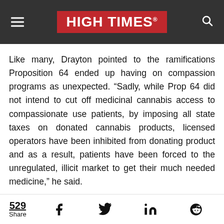HIGH TIMES
Like many, Drayton pointed to the ramifications Proposition 64 ended up having on compassion programs as unexpected. “Sadly, while Prop 64 did not intend to cut off medicinal cannabis access to compassionate use patients, by imposing all state taxes on donated cannabis products, licensed operators have been inhibited from donating product and as a result, patients have been forced to the unregulated, illicit market to get their much needed medicine,” he said.
Drayton’s The Prop is Done and Prop is M…
529 Share